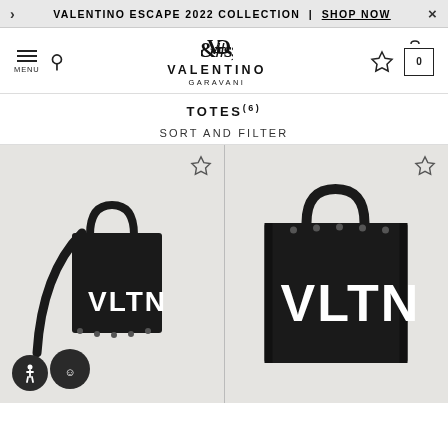VALENTINO ESCAPE 2022 COLLECTION | SHOP NOW
[Figure (screenshot): Valentino Garavani website navigation bar with hamburger menu, search icon, VG logo, wishlist star, and cart icon showing 0]
TOTES(6)
SORT AND FILTER
[Figure (photo): Two black Valentino VLTN tote bags displayed on a light gray background. Left bag is smaller with a shoulder strap. Right bag is larger. Both feature bold white VLTN lettering on the front.]